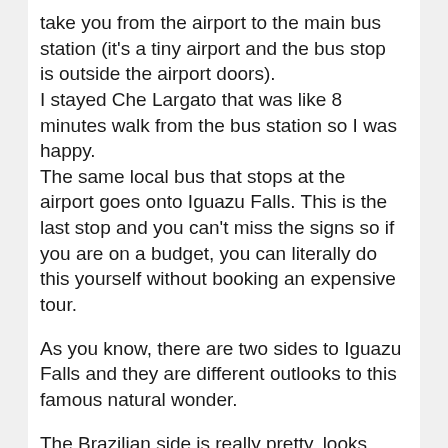take you from the airport to the main bus station (it's a tiny airport and the bus stop is outside the airport doors).
I stayed Che Largato that was like 8 minutes walk from the bus station so I was happy.
The same local bus that stops at the airport goes onto Iguazu Falls. This is the last stop and you can't miss the signs so if you are on a budget, you can literally do this yourself without booking an expensive tour.
As you know, there are two sides to Iguazu Falls and they are different outlooks to this famous natural wonder.
The Brazilian side is really pretty, looks magical and even has the lush 5* Belmond Pink Hotel located here.